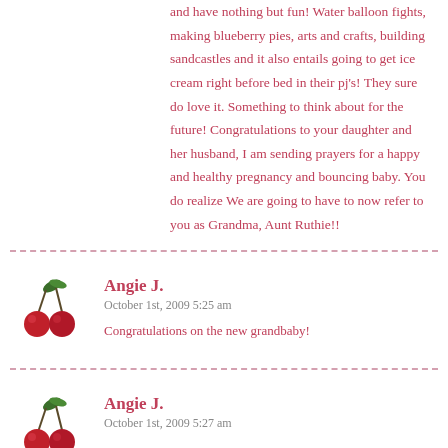and have nothing but fun! Water balloon fights, making blueberry pies, arts and crafts, building sandcastles and it also entails going to get ice cream right before bed in their pj's! They sure do love it. Something to think about for the future! Congratulations to your daughter and her husband, I am sending prayers for a happy and healthy pregnancy and bouncing baby. You do realize We are going to have to now refer to you as Grandma, Aunt Ruthie!!
Angie J.
October 1st, 2009 5:25 am
Congratulations on the new grandbaby!
Angie J.
October 1st, 2009 5:27 am